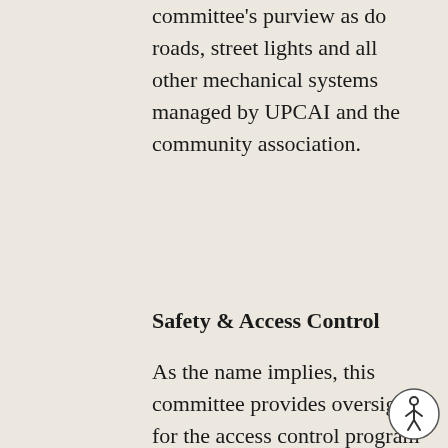committee's purview as do roads, street lights and all other mechanical systems managed by UPCAI and the community association.
Safety & Access Control
As the name implies, this committee provides oversight for the access control program including the manned front gates as well as the back gate and all emergency gates.  Speed mitigation and road safety are also management by the Safety & Access Control Committee.
University Park is proud to man a Community Emergency Response